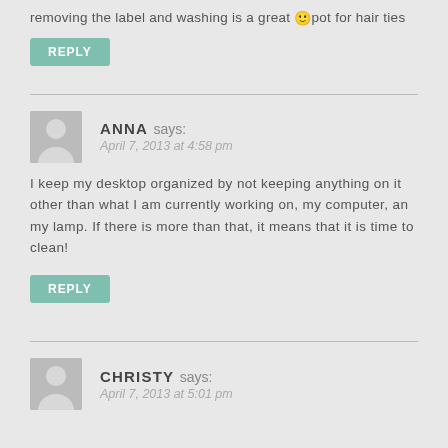removing the label and washing is a great 🙂 pot for hair ties
REPLY
ANNA says:
April 7, 2013 at 4:58 pm
I keep my desktop organized by not keeping anything on it other than what I am currently working on, my computer, an my lamp. If there is more than that, it means that it is time to clean!
REPLY
CHRISTY says:
April 7, 2013 at 5:01 pm